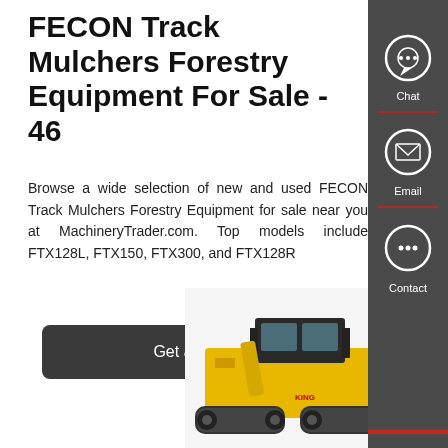FECON Track Mulchers Forestry Equipment For Sale - 46
Browse a wide selection of new and used FECON Track Mulchers Forestry Equipment for sale near you at MachineryTrader.com. Top models include FTX128L, FTX150, FTX300, and FTX128R
Get a Quote
[Figure (photo): Yellow track mulcher / forestry equipment machinery photographed from the side, showing cab and tracks]
[Figure (infographic): Dark grey sidebar with Chat, Email, and Contact icons and red dividers]